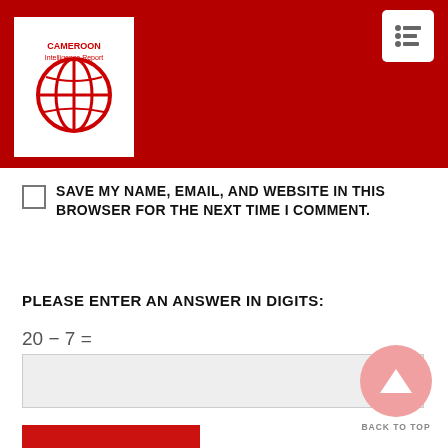[Figure (logo): Cameroon Intelligence Report globe logo in red and white, inside white box on dark red header bar. Menu icon button in top right corner.]
SAVE MY NAME, EMAIL, AND WEBSITE IN THIS BROWSER FOR THE NEXT TIME I COMMENT.
PLEASE ENTER AN ANSWER IN DIGITS:
POST COMMENT
BACK TO TOP